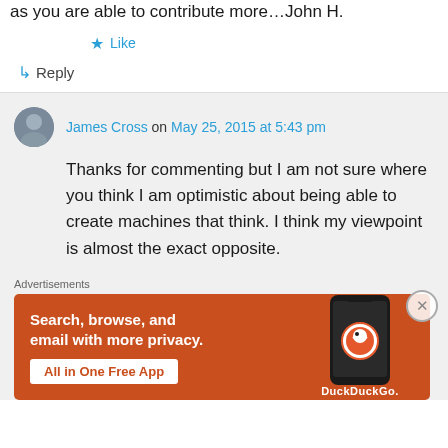as you are able to contribute more…John H.
★ Like
↪ Reply
James Cross on May 25, 2015 at 5:43 pm
Thanks for commenting but I am not sure where you think I am optimistic about being able to create machines that think. I think my viewpoint is almost the exact opposite.
Advertisements
[Figure (illustration): DuckDuckGo advertisement banner: orange background with phone image, text 'Search, browse, and email with more privacy. All in One Free App' with DuckDuckGo logo.]